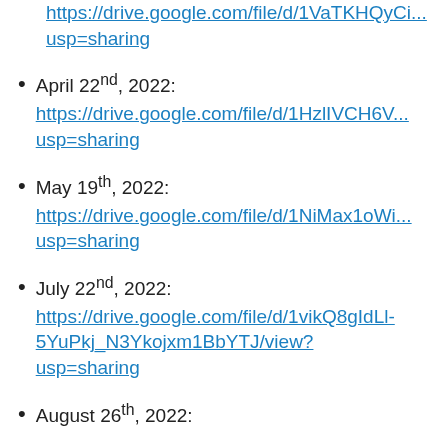https://drive.google.com/file/d/1VaTKHQyCi... usp=sharing
April 22nd, 2022: https://drive.google.com/file/d/1HzlIVCH6V... usp=sharing
May 19th, 2022: https://drive.google.com/file/d/1NiMax1oWi... usp=sharing
July 22nd, 2022: https://drive.google.com/file/d/1vikQ8gIdLl-5YuPkj_N3Ykojxm1BbYTJ/view? usp=sharing
August 26th, 2022: